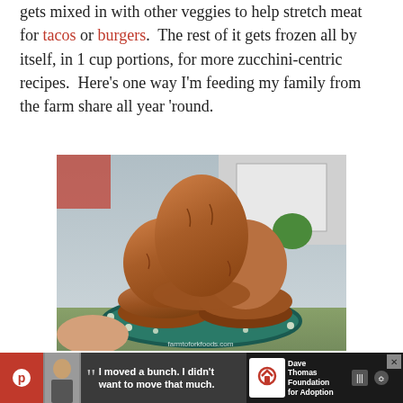gets mixed in with other veggies to help stretch meat for tacos or burgers.  The rest of it gets frozen all by itself, in 1 cup portions, for more zucchini-centric recipes.  Here's one way I'm feeding my family from the farm share all year 'round.
[Figure (photo): Photo of three chocolate zucchini muffins stacked on a decorative teal and white floral plate, held outdoors. Watermark reads farmtoforkfoods.com]
These muffins have a texture almost like a light chocolate cak  They are delicious as an after-school snack, warm with a bit butter or buttery spread.  You could easily go all whole wheat for
[Figure (infographic): Advertisement bar at the bottom: dark background with a photo of a teenage boy, a quote 'I moved a bunch. I didn't want to move that much.', Dave Thomas Foundation for Adoption logo, and a close button. Left side shows Pinterest icon in red, right side shows share icons.]